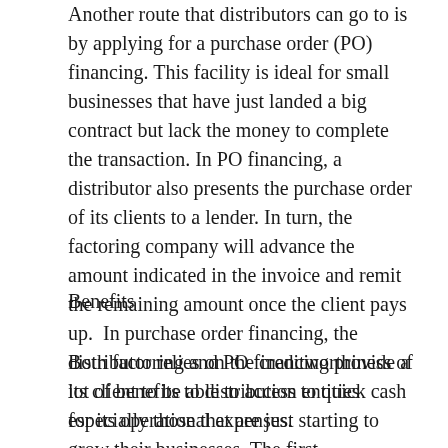Another route that distributors can go to is by applying for a purchase order (PO) financing. This facility is ideal for small businesses that have just landed a big contract but lack the money to complete the transaction. In PO financing, a distributor also presents the purchase order of its clients to a lender. In turn, the factoring company will advance the amount indicated in the invoice and remit the remaining amount once the client pays up.  In purchase order financing, the distributor relies on the creditworthiness of its client to be able to access to quick cash for its operational expenses.
Benefits
Both factoring and PO financing provide a lot of benefits to distribution entities especially those that are just starting to grow their businesses. The first